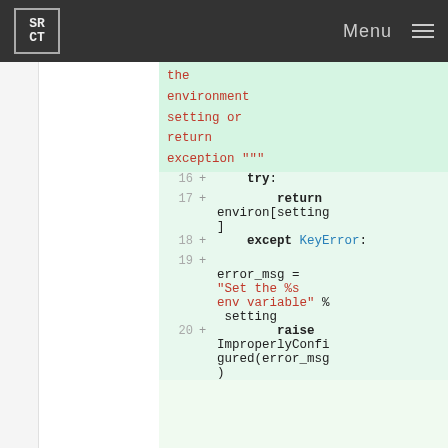SRCT | Menu
[Figure (screenshot): Code diff view showing Python code lines 16-20 with added lines highlighted in green. Code includes a try/except block returning environ[setting] and raising ImproperlyConfigured with an error message.]